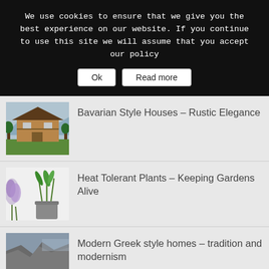We use cookies to ensure that we give you the best experience on our website. If you continue to use this site we will assume that you accept our policy
Ok | Read more
[Figure (photo): Bavarian style wooden house with mountains and green lawn]
Bavarian Style Houses – Rustic Elegance
[Figure (photo): Heat tolerant plants with purple flowers in a pot]
Heat Tolerant Plants – Keeping Gardens Alive
[Figure (photo): Coastal cliffs with sea view, Greek landscape]
Modern Greek style homes – tradition and modernism